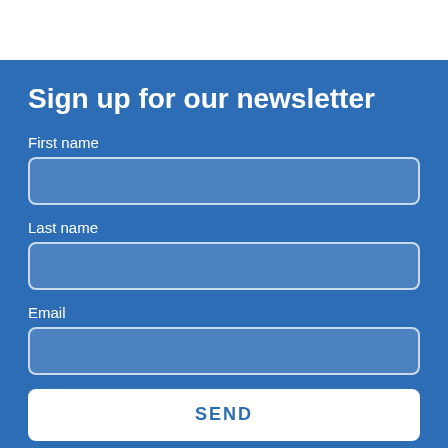Sign up for our newsletter
First name
Last name
Email
SEND